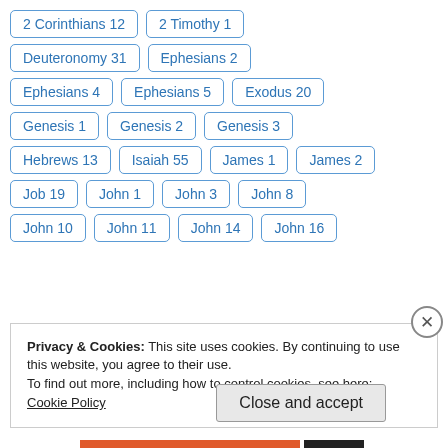2 Corinthians 12
2 Timothy 1
Deuteronomy 31
Ephesians 2
Ephesians 4
Ephesians 5
Exodus 20
Genesis 1
Genesis 2
Genesis 3
Hebrews 13
Isaiah 55
James 1
James 2
Job 19
John 1
John 3
John 8
John 10
John 11
John 14
John 16
Privacy & Cookies: This site uses cookies. By continuing to use this website, you agree to their use.
To find out more, including how to control cookies, see here:
Cookie Policy
Close and accept